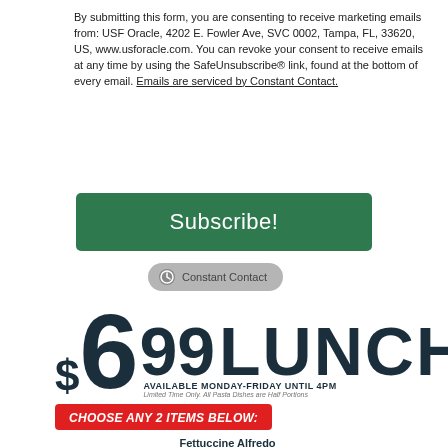By submitting this form, you are consenting to receive marketing emails from: USF Oracle, 4202 E. Fowler Ave, SVC 0002, Tampa, FL, 33620, US, www.usforacle.com. You can revoke your consent to receive emails at any time by using the SafeUnsubscribe® link, found at the bottom of every email. Emails are serviced by Constant Contact.
[Figure (other): Green Subscribe! button]
[Figure (logo): Constant Contact badge/logo button]
[Figure (infographic): $6.99 Lunch promotion graphic with menu items list]